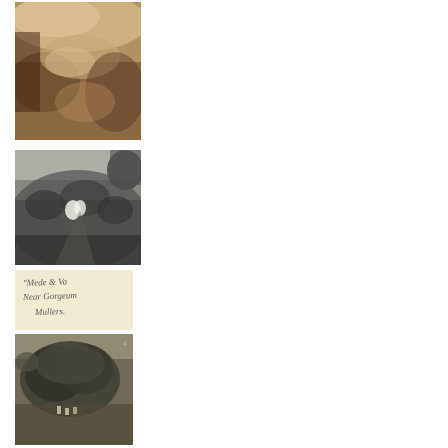[Figure (photo): Sepia-toned photograph showing a blurry animal (possibly a cow or large animal) in a landscape, soft focus, brownish tones]
[Figure (photo): Black and white photograph of a hillside or mound covered in vegetation, with a small white figure visible among the bushes]
[Figure (photo): Handwritten note card on cream/yellow paper with cursive handwriting reading 'Mede & Va Near Gorgeum Mullers.']
[Figure (photo): Black and white photograph of a large tree or dense vegetation mass, with small figures visible at the base]